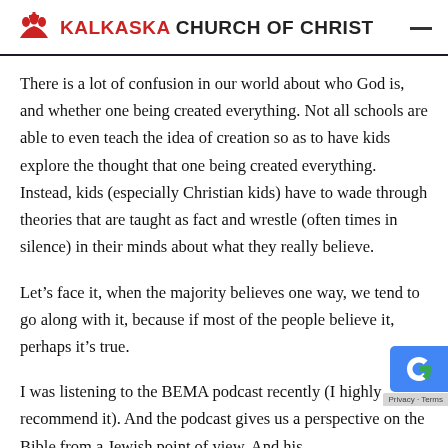KALKASKA CHURCH OF CHRIST
There is a lot of confusion in our world about who God is, and whether one being created everything. Not all schools are able to even teach the idea of creation so as to have kids explore the thought that one being created everything. Instead, kids (especially Christian kids) have to wade through theories that are taught as fact and wrestle (often times in silence) in their minds about what they really believe.
Let’s face it, when the majority believes one way, we tend to go along with it, because if most of the people believe it, perhaps it’s true.
I was listening to the BEMA podcast recently (I highly recommend it). And the podcast gives us a perspective on the Bible from a Jewish point of view. And his